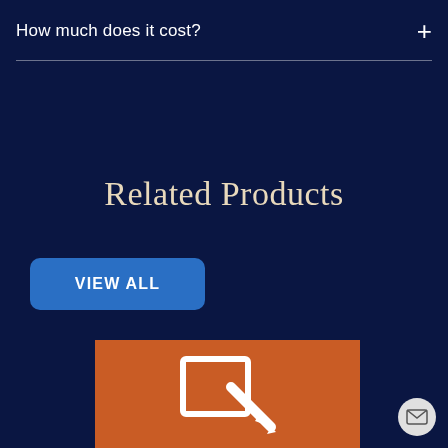How much does it cost?
Related Products
VIEW ALL
[Figure (illustration): Orange card with a white icon showing a document/contract with a pen/pencil overlay, representing a product or service offering]
[Figure (illustration): Round grey email/envelope button in the bottom right corner]